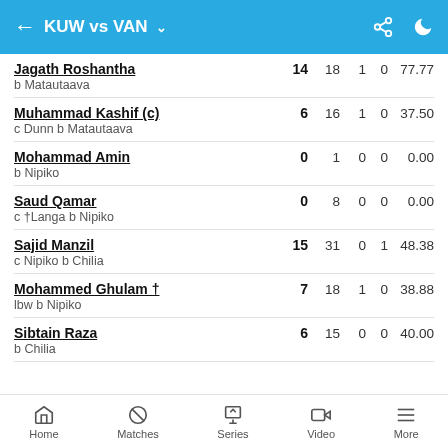KUW vs VAN
| Player | Runs | Balls | 4s | 6s | SR |
| --- | --- | --- | --- | --- | --- |
| Jagath Roshantha / b Matautaava | 14 | 18 | 1 | 0 | 77.77 |
| Muhammad Kashif (c) / c Dunn b Matautaava | 6 | 16 | 1 | 0 | 37.50 |
| Mohammad Amin / b Nipiko | 0 | 1 | 0 | 0 | 0.00 |
| Saud Qamar / c †Langa b Nipiko | 0 | 8 | 0 | 0 | 0.00 |
| Sajid Manzil / c Nipiko b Chilia | 15 | 31 | 0 | 1 | 48.38 |
| Mohammed Ghulam † / lbw b Nipiko | 7 | 18 | 1 | 0 | 38.88 |
| Sibtain Raza / b Chilia | 6 | 15 | 0 | 0 | 40.00 |
Home | Matches | Series | Video | More